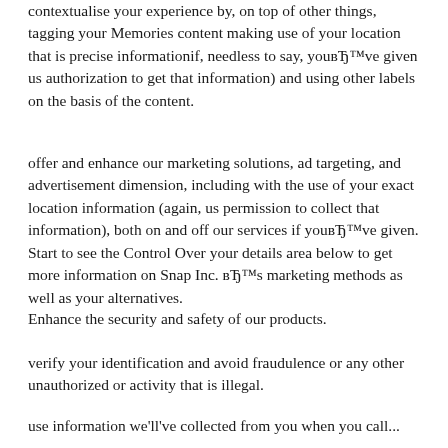contextualise your experience by, on top of other things, tagging your Memories content making use of your location that is precise informationif, needless to say, youвЂ™ve given us authorization to get that information) and using other labels on the basis of the content.
offer and enhance our marketing solutions, ad targeting, and advertisement dimension, including with the use of your exact location information (again, us permission to collect that information), both on and off our services if youвЂ™ve given. Start to see the Control Over your details area below to get more information on Snap Inc. вЂ™s marketing methods as well as your alternatives.
Enhance the security and safety of our products.
verify your identification and avoid fraudulence or any other unauthorized or activity that is illegal.
use information we'll've collected from you when you call...